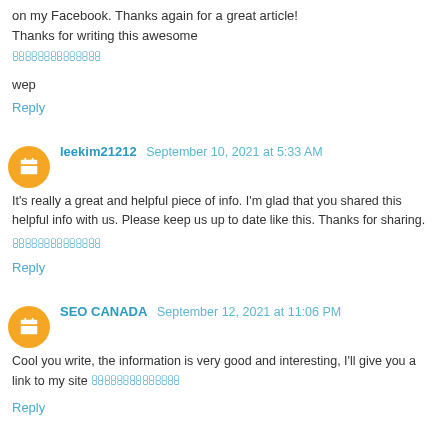on my Facebook. Thanks again for a great article! Thanks for writing this awesome
ꀀꀀꀀꀀꀀꀀꀀ
wep
Reply
leekim21212  September 10, 2021 at 5:33 AM
It's really a great and helpful piece of info. I'm glad that you shared this helpful info with us. Please keep us up to date like this. Thanks for sharing.
ꀀꀀꀀꀀꀀꀀꀀ
Reply
SEO CANADA  September 12, 2021 at 11:06 PM
Cool you write, the information is very good and interesting, I'll give you a link to my site ꀀꀀꀀꀀꀀꀀꀀ
Reply